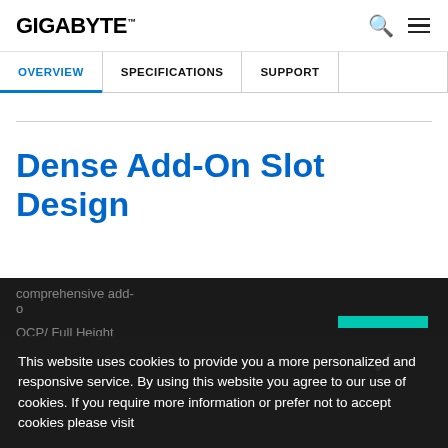GIGABYTE
OVERVIEW | SPECIFICATIONS | SUPPORT
Dense Add-On Slot Design
This website uses cookies to provide you a more personalized and responsive service. By using this website you agree to our use of cookies. If you require more information or prefer not to accept cookies please visit